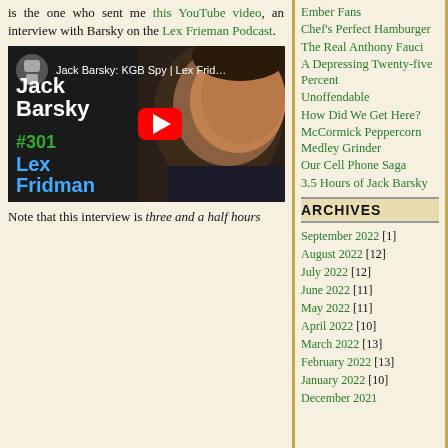is the one who sent me this YouTube video, an interview with Barsky on the Lex Frieman Podcast.
[Figure (screenshot): YouTube video thumbnail: Jack Barsky: KGB Spy | Lex Fridman Podcast #301, showing Jack Barsky's face on right, video title and episode number on left, red play button in center]
Ember Fans
Chef's Perfect Hamburger
The Real Anthony Fauci
A Depressing Twenty-five Percent
Unoffendable
How Did We Get Here?
McCormick Peppercorn Medley Grinder
Our Cell Phone Saga
3.5 Hours of Jack Barsky
ARCHIVES
September 2022 [1]
August 2022 [12]
July 2022 [12]
June 2022 [11]
May 2022 [11]
April 2022 [10]
March 2022 [13]
February 2022 [13]
January 2022 [10]
December 2021
Note that this interview is three and a half hours